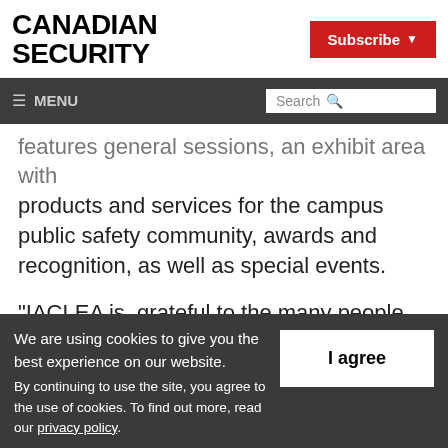CANADIAN SECURITY
Subscribe
≡ MENU  Search
features general sessions, an exhibit area with products and services for the campus public safety community, awards and recognition, as well as special events.
“IACLEA is  grateful to the many people who
We are using cookies to give you the best experience on our website.
By continuing to use the site, you agree to the use of cookies.
To find out more, read our privacy policy.